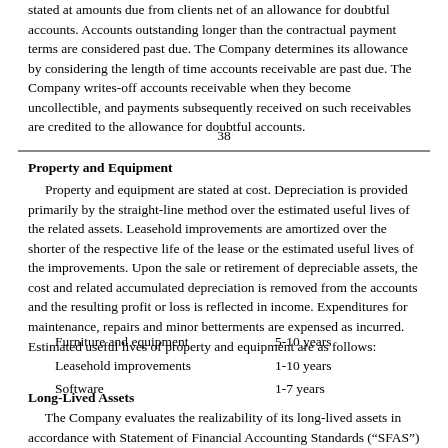stated at amounts due from clients net of an allowance for doubtful accounts. Accounts outstanding longer than the contractual payment terms are considered past due. The Company determines its allowance by considering the length of time accounts receivable are past due. The Company writes-off accounts receivable when they become uncollectible, and payments subsequently received on such receivables are credited to the allowance for doubtful accounts.
38
Property and Equipment
Property and equipment are stated at cost. Depreciation is provided primarily by the straight-line method over the estimated useful lives of the related assets. Leasehold improvements are amortized over the shorter of the respective life of the lease or the estimated useful lives of the improvements. Upon the sale or retirement of depreciable assets, the cost and related accumulated depreciation is removed from the accounts and the resulting profit or loss is reflected in income. Expenditures for maintenance, repairs and minor betterments are expensed as incurred. Estimated useful lives of property and equipment are as follows:
Furniture and equipment    5-10 years
Leasehold improvements    1-10 years
Software    1-7 years
Long-Lived Assets
The Company evaluates the realizability of its long-lived assets in accordance with Statement of Financial Accounting Standards (“SFAS”) No. 144, “Accounting for the Impairment or Disposal of Long-Lived Assets” (“SFAS No. 144”). SFAS No. 144 requires that one accounting impairment model be used for